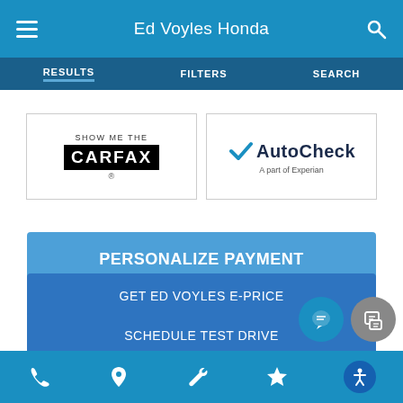Ed Voyles Honda
[Figure (screenshot): Mobile website navigation bar with RESULTS, FILTERS, SEARCH tabs]
[Figure (logo): SHOW ME THE CARFAX logo and AutoCheck A part of Experian logo side by side]
PERSONALIZE PAYMENT
GET ED VOYLES E-PRICE
SCHEDULE TEST DRIVE
VALUE YOUR TRADE
Bottom navigation bar with phone, location, wrench, star, and accessibility icons